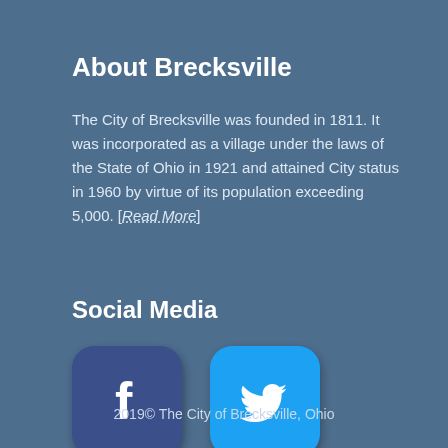About Brecksville
The City of Brecksville was founded in 1811. It was incorporated as a village under the laws of the State of Ohio in 1921 and attained City status in 1960 by virtue of its population exceeding 5,000. [Read More]
Social Media
[Figure (logo): Facebook app icon — dark blue rounded square with white 'f' letter]
[Figure (logo): Twitter app icon — light blue rounded square with white bird logo]
2019© The City of Brecksville, Ohio